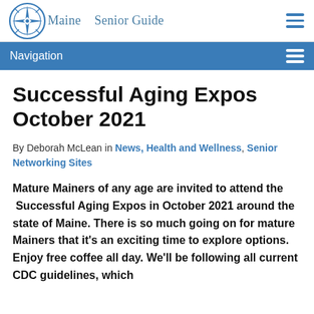Maine Senior Guide — Navigation
Successful Aging Expos October 2021
By Deborah McLean in News, Health and Wellness, Senior Networking Sites
Mature Mainers of any age are invited to attend the  Successful Aging Expos in October 2021 around the state of Maine. There is so much going on for mature Mainers that it's an exciting time to explore options. Enjoy free coffee all day. We'll be following all current CDC guidelines, which